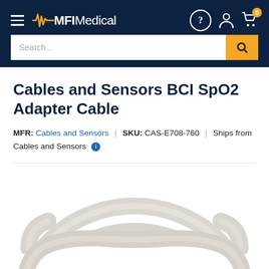MFI Medical
Cables and Sensors BCI SpO2 Adapter Cable
MFR: Cables and Sensors | SKU: CAS-E708-760 | Ships from Cables and Sensors
[Figure (photo): White coiled adapter cable product photo on white background]